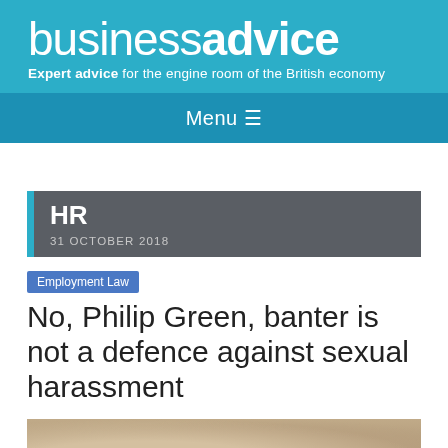business advice — Expert advice for the engine room of the British economy
Menu ≡
HR
31 OCTOBER 2018
No, Philip Green, banter is not a defence against sexual harassment
[Figure (photo): Photo of a person, partially visible at the bottom of the page]